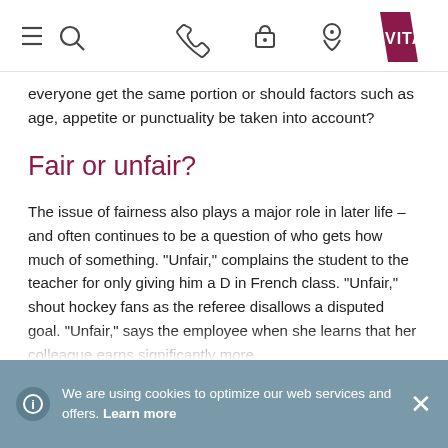[Navigation bar with menu, search, phone, lock, info, download icons and VITA logo]
everyone get the same portion or should factors such as age, appetite or punctuality be taken into account?
Fair or unfair?
The issue of fairness also plays a major role in later life – and often continues to be a question of who gets how much of something. "Unfair," complains the student to the teacher for only giving him a D in French class. "Unfair," shout hockey fans as the referee disallows a disputed goal. "Unfair," says the employee when she learns that her colleague earns significantly more.
We find it unfair when we do not receive something we have earned. In contrast, we consider something to be fair
We are using cookies to optimize our web services and offers. Learn more